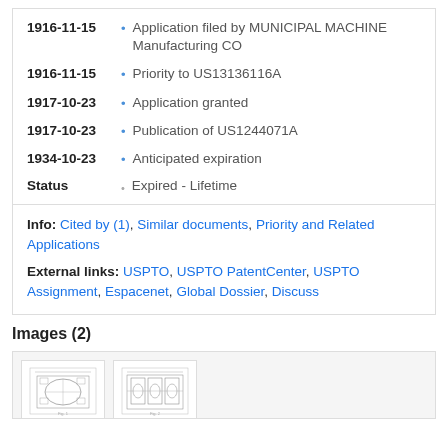1916-11-15 • Application filed by MUNICIPAL MACHINE Manufacturing CO
1916-11-15 • Priority to US13136116A
1917-10-23 • Application granted
1917-10-23 • Publication of US1244071A
1934-10-23 • Anticipated expiration
Status • Expired - Lifetime
Info: Cited by (1), Similar documents, Priority and Related Applications
External links: USPTO, USPTO PatentCenter, USPTO Assignment, Espacenet, Global Dossier, Discuss
Images (2)
[Figure (illustration): Two patent engineering diagram thumbnails showing mechanical device drawings]